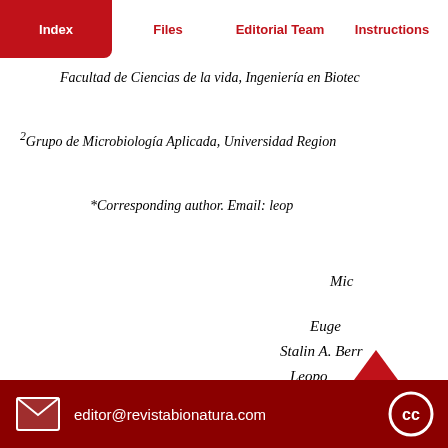Index | Files | Editorial Team | Instructions
Facultad de Ciencias de la vida, Ingeniería en Biotec...
2Grupo de Microbiología Aplicada, Universidad Region...
*Corresponding author. Email: leop...
Mic...
Euge...
Stalin A. Berr...
Leopo...
editor@revistabionatura.com